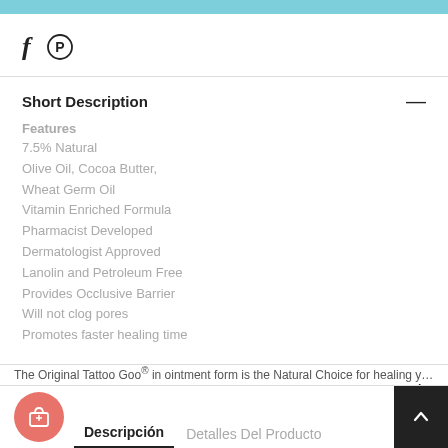f  (Pinterest icon)
Short Description
Features
7.5% Natural
Olive Oil, Cocoa Butter,
Wheat Germ Oil
Vitamin Enriched Formula
Pharmacist Developed
Dermatologist Approved
Lanolin and Petroleum Free
Provides Occlusive Barrier
Will not clog pores
Promotes faster healing time
Reassurance
Descripción   Detalles Del Producto
The Original Tattoo Goo® in ointment form is the Natural Choice for healing your